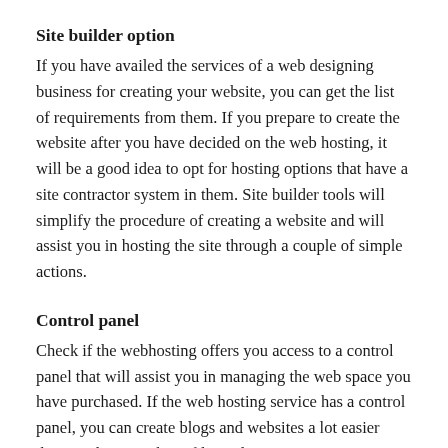Site builder option
If you have availed the services of a web designing business for creating your website, you can get the list of requirements from them. If you prepare to create the website after you have decided on the web hosting, it will be a good idea to opt for hosting options that have a site contractor system in them. Site builder tools will simplify the procedure of creating a website and will assist you in hosting the site through a couple of simple actions.
Control panel
Check if the webhosting offers you access to a control panel that will assist you in managing the web space you have purchased. If the web hosting service has a control panel, you can create blogs and websites a lot easier than needing to submit files utilizing FTP.